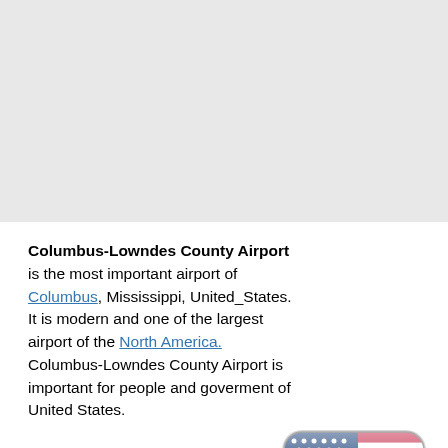[Figure (other): Gray blank area at top of page, likely placeholder for a map or image]
Columbus-Lowndes County Airport is the most important airport of Columbus, Mississippi, United_States. It is modern and one of the largest airport of the North America. Columbus-Lowndes County Airport is important for people and goverment of United States.
[Figure (illustration): US flag displayed as a rounded square icon with glossy finish — red and white stripes, blue canton with white stars]